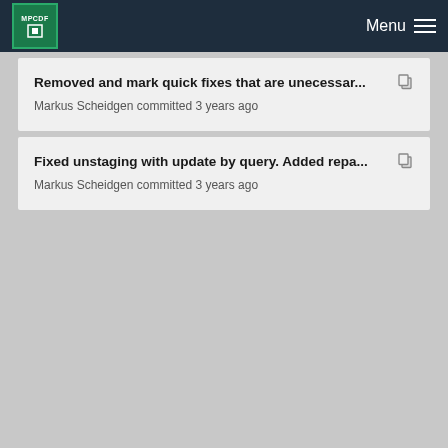MPCDF  Menu
Removed and mark quick fixes that are unecessar...
Markus Scheidgen committed 3 years ago
Fixed unstaging with update by query. Added repa...
Markus Scheidgen committed 3 years ago